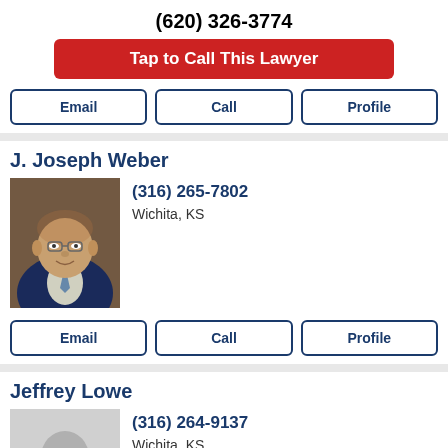(620) 326-3774
Tap to Call This Lawyer
Email | Call | Profile
J. Joseph Weber
[Figure (photo): Headshot photo of J. Joseph Weber, a middle-aged man with glasses and a dark blazer]
(316) 265-7802
Wichita, KS
Email | Call | Profile
Jeffrey Lowe
[Figure (photo): Placeholder silhouette for Jeffrey Lowe]
(316) 264-9137
Wichita, KS